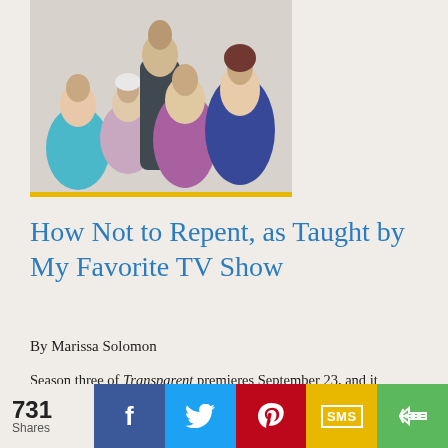[Figure (photo): Cast photo of the TV show Transparent — five people posing together against a light gray background, with a gold/yellow bar at the bottom of the image.]
How Not to Repent, as Taught by My Favorite TV Show
By Marissa Solomon
Season three of Transparent premieres September 23, and it couldn't come at a more appropriate time: in the middle of Elul, the day before we begin reciting Selichot.
731 Shares  [Facebook] [Twitter] [Pinterest] [SMS] [Share]